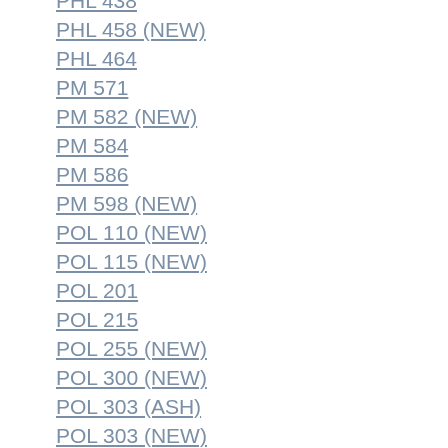PHL 438
PHL 458 (NEW)
PHL 464
PM 571
PM 582 (NEW)
PM 584
PM 586
PM 598 (NEW)
POL 110 (NEW)
POL 115 (NEW)
POL 201
POL 215
POL 255 (NEW)
POL 300 (NEW)
POL 303 (ASH)
POL 303 (NEW)
POL 310 (ASH)
POL 443
POS 110